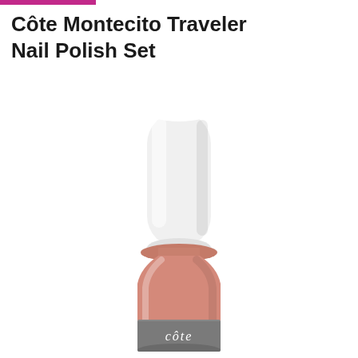Côte Montecito Traveler Nail Polish Set
[Figure (photo): Close-up photo of a nail polish bottle from the Côte brand. The bottle has a white cylindrical cap, a peach/salmon-colored nail polish body, and a gray label at the bottom with the 'côte' logo in white text.]